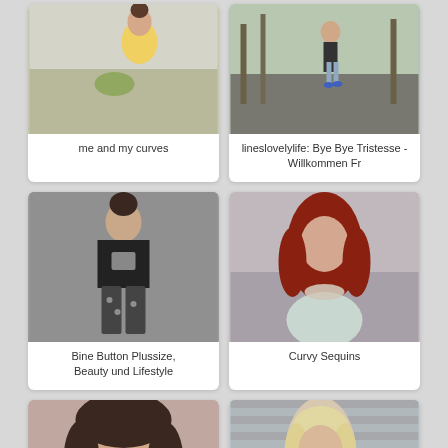[Figure (photo): Woman in yellow sweater holding flowers, posing outdoors]
me and my curves
[Figure (photo): Woman in dark top and shorts walking on a road lined with trees]
lineslovelylife: Bye Bye Tristesse - Willkommen Fr
[Figure (photo): Woman in black t-shirt and patterned pants standing against grey background]
Bine Button Plussize, Beauty und Lifestyle
[Figure (photo): Woman with red hair wearing a statement necklace and light top]
Curvy Sequins
[Figure (photo): Close-up portrait of woman with dark hair smiling]
[Figure (photo): Blonde woman in light blue top standing in front of brick wall]